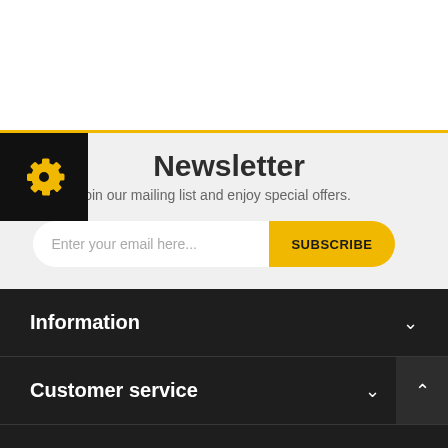[Figure (logo): Gear/settings icon in gold on black square background]
Newsletter
Join our mailing list and enjoy special offers.
Enter your email here... SUBSCRIBE
Information
Customer service
My account